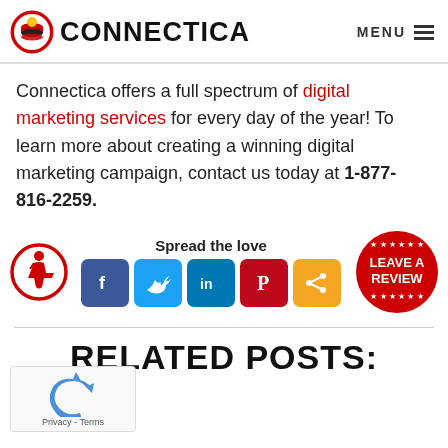[Figure (logo): Connectica logo with red/white layered icon and black bold text CONNECTICA, plus MENU with hamburger lines on the right]
Connectica offers a full spectrum of digital marketing services for every day of the year! To learn more about creating a winning digital marketing campaign, contact us today at 1-877-816-2259.
[Figure (infographic): Accessible icon (red circle with wheelchair user), Spread the love social share buttons (Facebook, Twitter, LinkedIn, Pinterest, Share), and Leave a Review red circle badge with stars]
RELATED POSTS:
[Figure (logo): Google reCAPTCHA badge with blue recycling arrow icon and Privacy - Terms text]